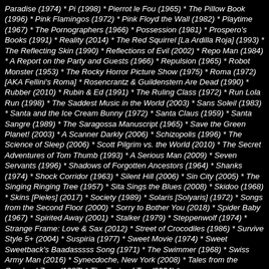Paradise (1974) * Pi (1998) * Pierrot le Fou (1965) * The Pillow Book (1996) * Pink Flamingos (1972) * Pink Floyd the Wall (1982) * Playtime (1967) * The Pornographers (1966) * Possession (1981) * Prospero's Books (1991) * Reality (2014) * The Red Squirrel [La Ardilla Roja] (1993) * The Reflecting Skin (1990) * Reflections of Evil (2002) * Repo Man (1984) * A Report on the Party and Guests (1966) * Repulsion (1965) * Robot Monster (1953) * The Rocky Horror Picture Show (1975) * Roma (1972) [AKA Fellini's Roma] * Rosencrantz & Guildenstern Are Dead (1990) * Rubber (2010) * Rubin & Ed (1991) * The Ruling Class (1972) * Run Lola Run (1998) * The Saddest Music in the World (2003) * Sans Soleil (1983) * Santa and the Ice Cream Bunny (1972) * Santa Claus (1959) * Santa Sangre (1989) * The Saragossa Manuscript (1965) * Save the Green Planet! (2003) * A Scanner Darkly (2006) * Schizopolis (1996) * The Science of Sleep (2006) * Scott Pilgrim vs. the World (2010) * The Secret Adventures of Tom Thumb (1993) * A Serious Man (2009) * Seven Servants (1996) * Shadows of Forgotten Ancestors (1964) * Shanks (1974) * Shock Corridor (1963) * Silent Hill (2006) * Sin City (2005) * The Singing Ringing Tree (1957) * Sita Sings the Blues (2008) * Skidoo (1968) * Skins [Pieles] (2017) * Society (1989) * Solaris [Solyaris] (1972) * Songs from the Second Floor (2000) * Sorry to Bother You (2018) * Spider Baby (1967) * Spirited Away (2001) * Stalker (1979) * Steppenwolf (1974) * Strange Frame: Love & Sax (2012) * Street of Crocodiles (1986) * Survive Style 5+ (2004) * Suspiria (1977) * Sweet Movie (1974) * Sweet Sweetback's Baadasssss Song (1971) * The Swimmer (1968) * Swiss Army Man (2016) * Synecdoche, New York (2008) * Tales from the Quadead Zone (1987) * The Taste of Tea (2004) *